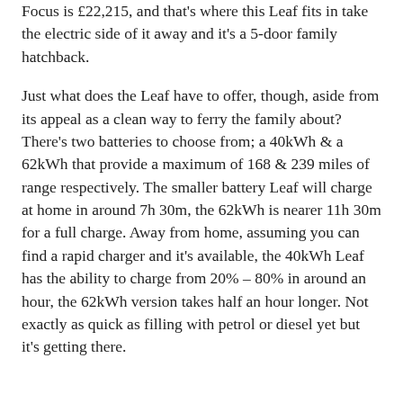Focus is £22,215, and that's where this Leaf fits in take the electric side of it away and it's a 5-door family hatchback.
Just what does the Leaf have to offer, though, aside from its appeal as a clean way to ferry the family about? There's two batteries to choose from; a 40kWh & a 62kWh that provide a maximum of 168 & 239 miles of range respectively. The smaller battery Leaf will charge at home in around 7h 30m, the 62kWh is nearer 11h 30m for a full charge. Away from home, assuming you can find a rapid charger and it's available, the 40kWh Leaf has the ability to charge from 20% – 80% in around an hour, the 62kWh version takes half an hour longer. Not exactly as quick as filling with petrol or diesel yet but it's getting there.